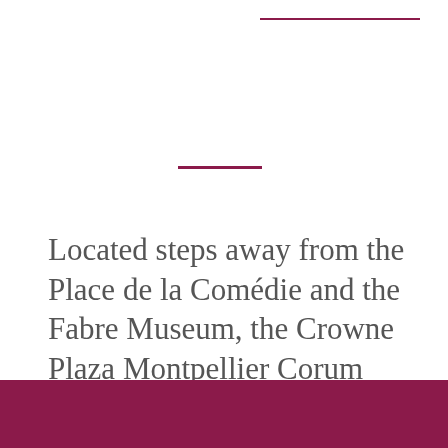Located steps away from the Place de la Comédie and the Fabre Museum, the Crowne Plaza Montpellier Corum hotel is ideally situated in the centre of Montpellier, opposite the Palais des Congrès Le Corum